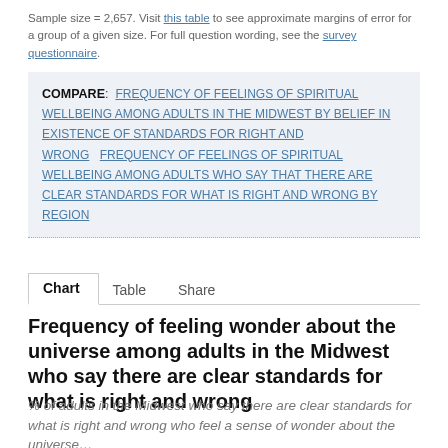Sample size = 2,657. Visit this table to see approximate margins of error for a group of a given size. For full question wording, see the survey questionnaire.
COMPARE: FREQUENCY OF FEELINGS OF SPIRITUAL WELLBEING AMONG ADULTS IN THE MIDWEST BY BELIEF IN EXISTENCE OF STANDARDS FOR RIGHT AND WRONG   FREQUENCY OF FEELINGS OF SPIRITUAL WELLBEING AMONG ADULTS WHO SAY THAT THERE ARE CLEAR STANDARDS FOR WHAT IS RIGHT AND WRONG BY REGION
Chart   Table   Share
Frequency of feeling wonder about the universe among adults in the Midwest who say there are clear standards for what is right and wrong
% of adults in the Midwest who say there are clear standards for what is right and wrong who feel a sense of wonder about the universe...